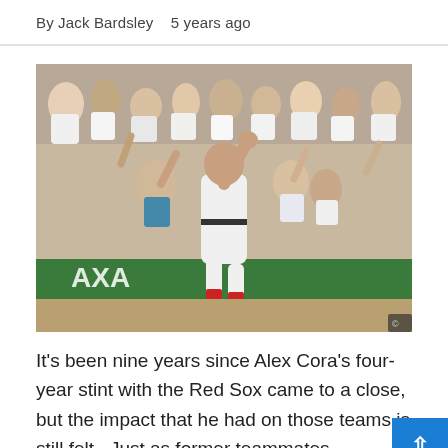By Jack Bardsley   5 years ago
[Figure (photo): Baseball player in white Red Sox uniform celebrating with fist raised, running on field, with large crowd of cheering fans in the background at Fenway Park. AXA advertising board visible in lower portion.]
It's been nine years since Alex Cora's four-year stint with the Red Sox came to a close, but the impact that he had on those teams is still felt.  Just as former teammates.